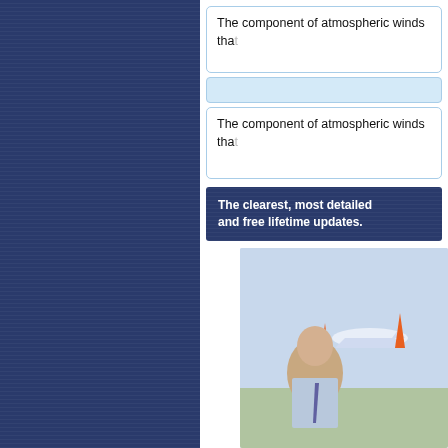Free Aircraft Checklists
MetalWings Diecast
Products by Platform
Support
Knowledgebase / FAQ
Contact
Employment
SBD Dauntless
Bulk Purchases
Site/Lab Licensing
Affiliate Program
Home
The component of atmospheric winds that...
The component of atmospheric winds that...
The clearest, most detailed... and free lifetime updates.
[Figure (photo): Young man in shirt and tie smiling, with a diagram of an airplane and atmospheric winds in the background]